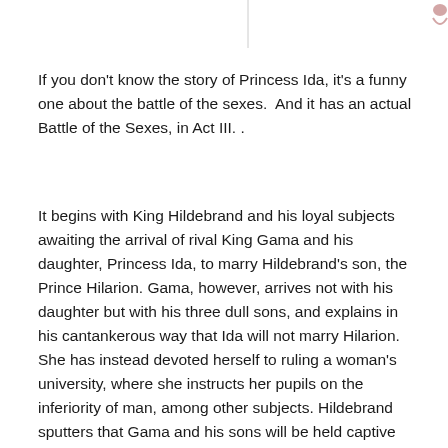[Figure (illustration): Partial decorative illustration at the top of the page, showing small figures partially visible at the top edge.]
If you don't know the story of Princess Ida, it's a funny one about the battle of the sexes.  And it has an actual Battle of the Sexes, in Act III. .
It begins with King Hildebrand and his loyal subjects awaiting the arrival of rival King Gama and his daughter, Princess Ida, to marry Hildebrand's son, the Prince Hilarion. Gama, however, arrives not with his daughter but with his three dull sons, and explains in his cantankerous way that Ida will not marry Hilarion.  She has instead devoted herself to ruling a woman's university, where she instructs her pupils on the inferiority of man, among other subjects. Hildebrand sputters that Gama and his sons will be held captive until Ida appears and consents to marry Hilarion.